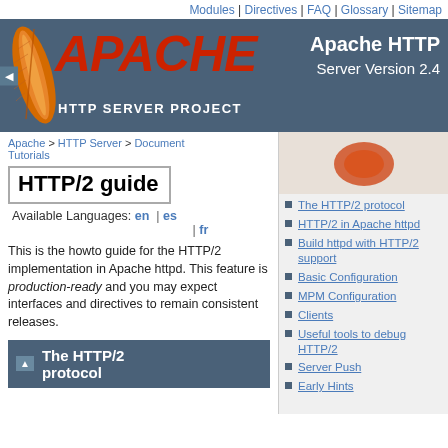Modules | Directives | FAQ | Glossary | Sitemap
[Figure (logo): Apache HTTP Server Project logo with feather and red APACHE text on dark blue-gray banner, Apache HTTP Server Version 2.4]
Apache > HTTP Server > Documentation > Tutorials
HTTP/2 guide
Available Languages: en | es | fr
This is the howto guide for the HTTP/2 implementation in Apache httpd. This feature is production-ready and you may expect interfaces and directives to remain consistent releases.
The HTTP/2 protocol
The HTTP/2 protocol
HTTP/2 in Apache httpd
Build httpd with HTTP/2 support
Basic Configuration
MPM Configuration
Clients
Useful tools to debug HTTP/2
Server Push
Early Hints